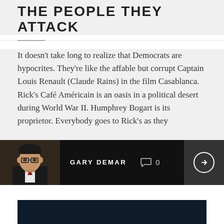THE PEOPLE THEY ATTACK
It doesn't take long to realize that Democrats are hypocrites. They're like the affable but corrupt Captain Louis Renault (Claude Rains) in the film Casablanca. Rick's Café Américain is an oasis in a political desert during World War II. Humphrey Bogart is its proprietor. Everybody goes to Rick's as they
[Figure (photo): Author photo of Gary DeMar, a man with glasses wearing a suit, on a dark background author bar showing name GARY DEMAR and comment count 0]
[Figure (logo): BainCapital logo in white serif text on dark navy background]